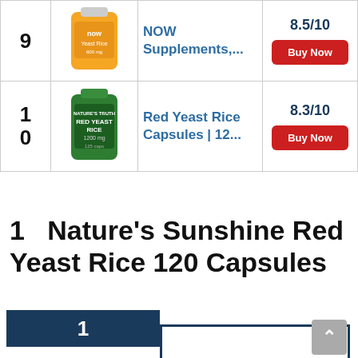| Rank | Image | Product | Score |
| --- | --- | --- | --- |
| 9 | [NOW Supplements bottle] | NOW Supplements,... | 8.3/10 | Buy Now |
| 10 | [Red Yeast Rice bottle] | Red Yeast Rice Capsules | 12... | 8.3/10 | Buy Now |
1   Nature's Sunshine Red Yeast Rice 120 Capsules